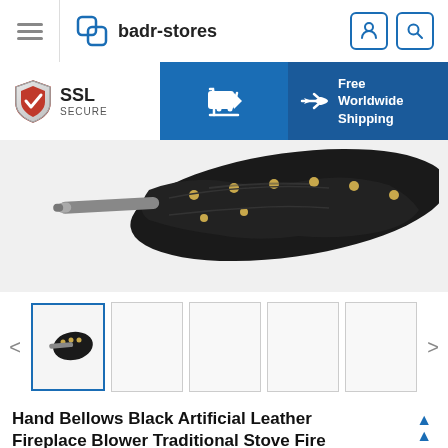badr-stores
[Figure (logo): badr-stores logo with two overlapping rounded-corner squares in blue]
[Figure (photo): SSL Secure shield badge with red checkmark]
[Figure (photo): Shopping cart icon button in blue]
[Figure (photo): Airplane icon with Free Worldwide Shipping text on dark blue background]
[Figure (photo): Product photo: Hand bellows with black artificial leather body, gold studs, and chrome nozzle, viewed from above on white background]
[Figure (photo): Thumbnail gallery strip showing product images, first thumbnail active with blue border]
Hand Bellows Black Artificial Leather Fireplace Blower Traditional Stove Fire Lighter Fan For Home DIY Fireside Accessories